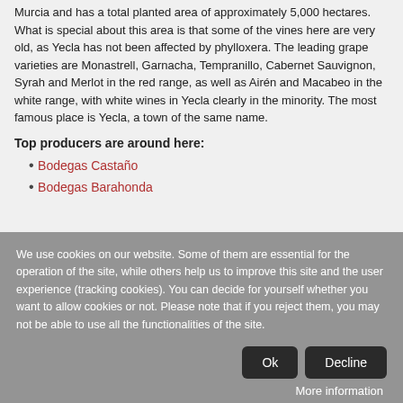The Yecla wine growing region is located in the Spanish region of Murcia and has a total planted area of approximately 5,000 hectares. What is special about this area is that some of the vines here are very old, as Yecla has not been affected by phylloxera. The leading grape varieties are Monastrell, Garnacha, Tempranillo, Cabernet Sauvignon, Syrah and Merlot in the red range, as well as Airén and Macabeo in the white range, with white wines in Yecla clearly in the minority. The most famous place is Yecla, a town of the same name.
Top producers are around here:
Bodegas Castaño
Bodegas Barahonda
We use cookies on our website. Some of them are essential for the operation of the site, while others help us to improve this site and the user experience (tracking cookies). You can decide for yourself whether you want to allow cookies or not. Please note that if you reject them, you may not be able to use all the functionalities of the site.